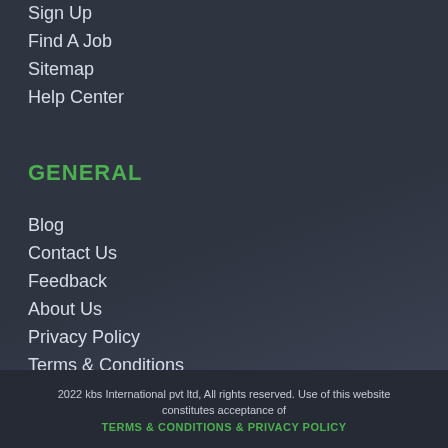Sign Up
Find A Job
Sitemap
Help Center
GENERAL
Blog
Contact Us
Feedback
About Us
Privacy Policy
Terms & Conditions
2022 kbs International pvt ltd, All rights reserved. Use of this website constitutes acceptance of TERMS & CONDITIONS & PRIVACY POLICY